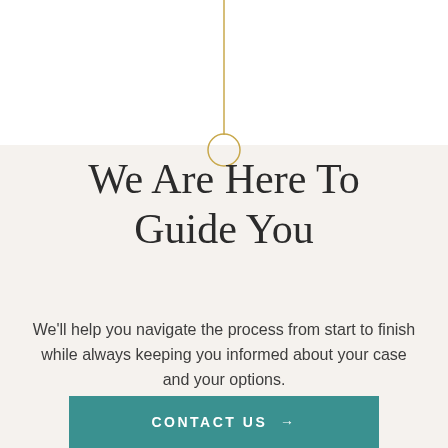[Figure (illustration): Decorative golden pin/drop marker with a vertical line extending upward, centered at the top of the page, transitioning from white background to cream/beige background]
We Are Here To Guide You
We'll help you navigate the process from start to finish while always keeping you informed about your case and your options.
[Figure (other): Teal/dark cyan rectangular button with text CONTACT US and an arrow icon]